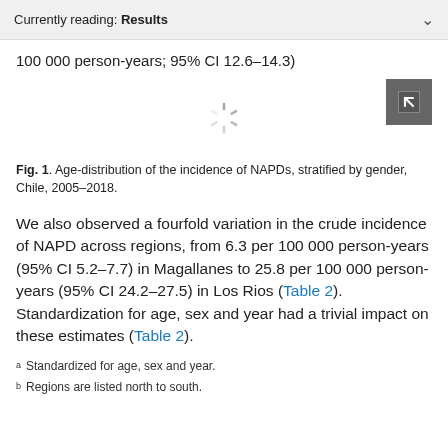Currently reading: Results
100 000 person-years; 95% CI 12.6–14.3)
[Figure (other): Loading spinner icon centered, with an expand/fullscreen button in the top right corner (dark grey square with arrow icon).]
Fig. 1. Age-distribution of the incidence of NAPDs, stratified by gender, Chile, 2005–2018.
We also observed a fourfold variation in the crude incidence of NAPD across regions, from 6.3 per 100 000 person-years (95% CI 5.2–7.7) in Magallanes to 25.8 per 100 000 person-years (95% CI 24.2–27.5) in Los Rios (Table 2). Standardization for age, sex and year had a trivial impact on these estimates (Table 2).
a Standardized for age, sex and year.
b Regions are listed north to south.